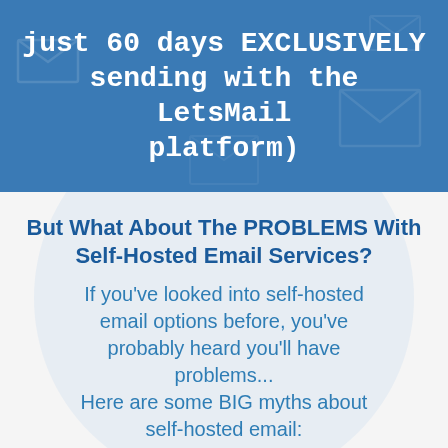just 60 days EXCLUSIVELY sending with the LetsMail platform)
But What About The PROBLEMS With Self-Hosted Email Services?
If you've looked into self-hosted email options before, you've probably heard you'll have problems... Here are some BIG myths about self-hosted email: